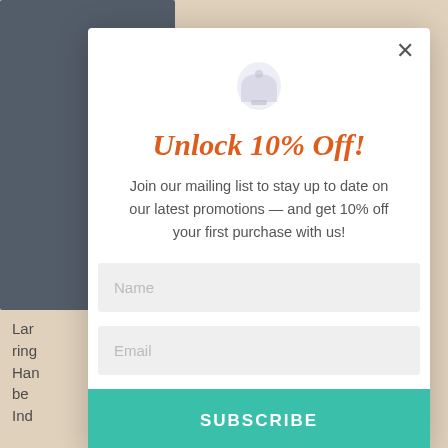[Figure (screenshot): Background product image — dark navy/blue blurred background, partially visible behind modal overlay]
Lar
ring
Har
be
Ind
orange spiny oyster shell
in solid sterling silver
crafted by a Navajo artist. The
[Figure (screenshot): Modal popup overlay with email signup form. Title: Unlock 10% Off! Body: Join our mailing list to stay up to date on our latest promotions — and get 10% off your first purchase with us! Input fields: Name, Email. Button: SUBSCRIBE]
Unlock 10% Off!
Join our mailing list to stay up to date on our latest promotions — and get 10% off your first purchase with us!
Name
Email